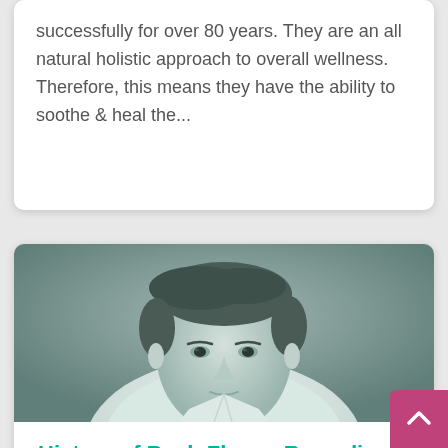successfully for over 80 years.  They are an all natural holistic approach to overall wellness.  Therefore, this means they have the ability to soothe & heal the...
[Figure (photo): Black and white portrait photograph of a middle-aged man in a white shirt, looking directly at the camera with a neutral expression.]
History of Bach Flower Remedies
Here's a little history of Bach Flower Remedies.  They were discovered nearly